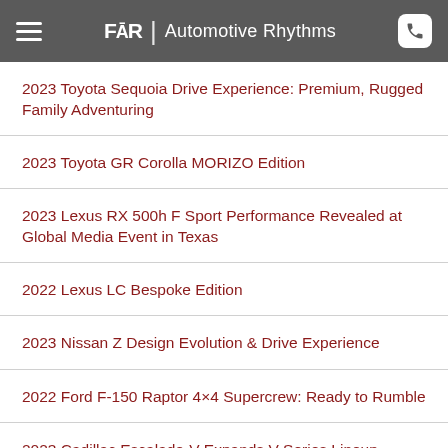FAR | Automotive Rhythms
2023 Toyota Sequoia Drive Experience: Premium, Rugged Family Adventuring
2023 Toyota GR Corolla MORIZO Edition
2023 Lexus RX 500h F Sport Performance Revealed at Global Media Event in Texas
2022 Lexus LC Bespoke Edition
2023 Nissan Z Design Evolution & Drive Experience
2022 Ford F-150 Raptor 4×4 Supercrew: Ready to Rumble
2023 Cadillac Escalade-V Expands V-Series Lineup, Delivers 682-Horsepower
2023 Kia Sportage Compact SUV: Movement That Inspires